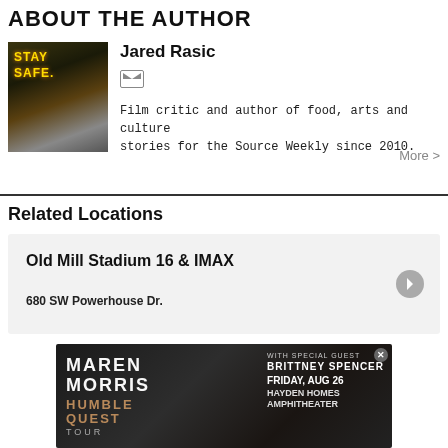ABOUT THE AUTHOR
[Figure (photo): Photo of Jared Rasic in front of a 'Stay Safe' illuminated sign]
Jared Rasic
Film critic and author of food, arts and culture stories for the Source Weekly since 2010.
More >
Related Locations
Old Mill Stadium 16 & IMAX
680 SW Powerhouse Dr.
[Figure (photo): Advertisement banner for Maren Morris Humble Quest Tour with special guest Brittney Spencer, Friday Aug 26, Hayden Homes Amphitheater]